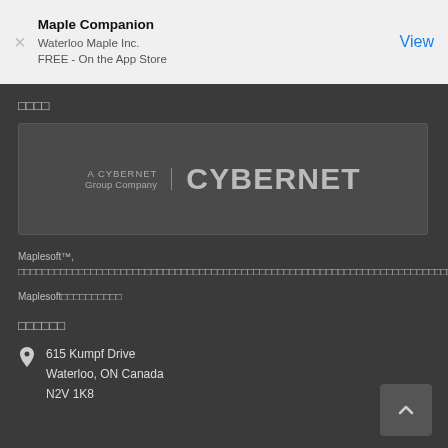Maple Companion
Waterloo Maple Inc.
FREE - On the App Store
□□□□
[Figure (logo): Cybernet logo: A CYBERNET Group Company | CYBERNET]
Maplesoft™, □□□□□□□□□□□□□□□□□□□□□□□□□□□□□□□□□□□□□□□□□□□□□□□□□□□□□□□□□□□□□□□□□□□□□□□□□□□□□□□□□□□□□□□□□□
Maplesoft□□□□□□□□□□
□□□□□□
615 Kumpf Drive
Waterloo, ON Canada
N2V 1K8